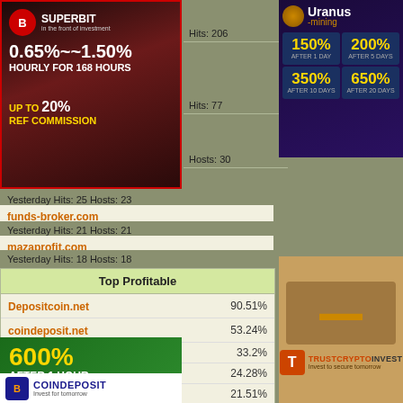[Figure (advertisement): Superbit investment banner - 0.65%~~1.50% hourly for 168 hours, up to 20% ref commission]
Hits: 206
Hits: 77
Hosts: 30
Yesterday Hits: 25 Hosts: 23
funds-broker.com
Yesterday Hits: 21 Hosts: 21
mazaprofit.com
Yesterday Hits: 18 Hosts: 18
[Figure (advertisement): Uranus mining - 150% after 1 day, 200% after 5 days, 350% after 10 days, 650% after 20 days]
| Site | Profitable% |
| --- | --- |
| Depositcoin.net | 90.51% |
| coindeposit.net | 53.24% |
|  | 33.2% |
| m | 24.28% |
|  | 21.51% |
|  | 13.22% |
|  | 10.52% |
[Figure (advertisement): 600% After 1 Hour banner]
[Figure (advertisement): CoinDeposit - Invest for tomorrow]
[Figure (advertisement): TrustCryptoInvest - Invest to secure tomorrow]